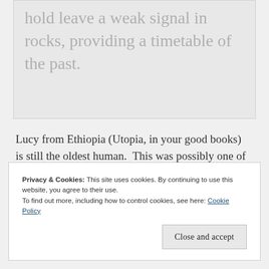hold leave a weak signal in rocks, providing a timetable of the past.
Lucy from Ethiopia (Utopia, in your good books)  is still the oldest human.  This was possibly one of the oldest white people (who like stuff like this).
Privacy & Cookies: This site uses cookies. By continuing to use this website, you agree to their use.
To find out more, including how to control cookies, see here: Cookie Policy
Close and accept